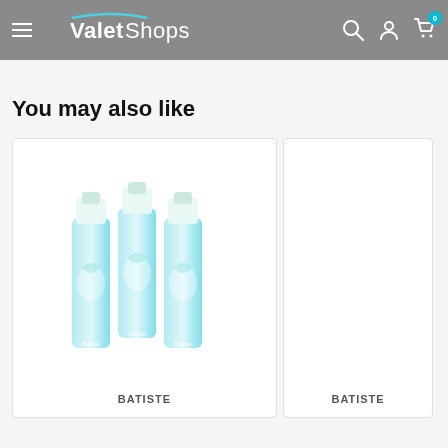ValetShops
You may also like
[Figure (photo): Three Batiste dry shampoo spray cans with light blue and white swirl design, shown side by side on a white product card]
BATISTE
[Figure (photo): Partially visible second Batiste product card on the right side of the page]
BATISTE